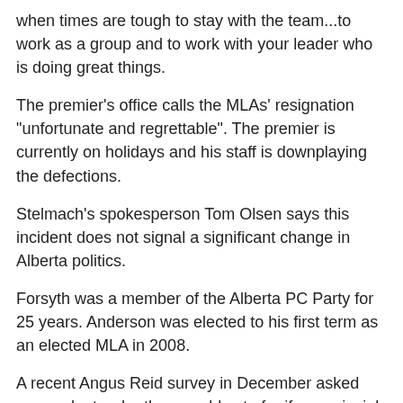when times are tough to stay with the team...to work as a group and to work with your leader who is doing great things.
The premier's office calls the MLAs' resignation "unfortunate and regrettable". The premier is currently on holidays and his staff is downplaying the defections.
Stelmach's spokesperson Tom Olsen says this incident does not signal a significant change in Alberta politics.
Forsyth was a member of the Alberta PC Party for 25 years. Anderson was elected to his first term as an elected MLA in 2008.
A recent Angus Reid survey in December asked respondents who they would vote for if a provincial election were held. It found that 39 per cent of people would vote for the Wildrose Alliance, and only 25 per cent said they'd vote for the ruling Tories.